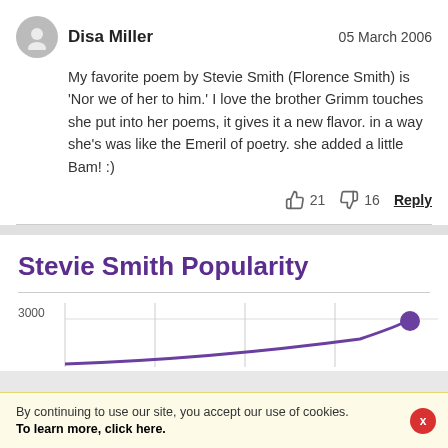Disa Miller
05 March 2006
My favorite poem by Stevie Smith (Florence Smith) is 'Nor we of her to him.' I love the brother Grimm touches she put into her poems, it gives it a new flavor. in a way she's was like the Emeril of poetry. she added a little Bam! :)
21 16 Reply
Stevie Smith Popularity
[Figure (continuous-plot): Partial line chart showing Stevie Smith popularity with y-axis label 3000 and a purple data point visible at upper right]
By continuing to use our site, you accept our use of cookies. To learn more, click here.